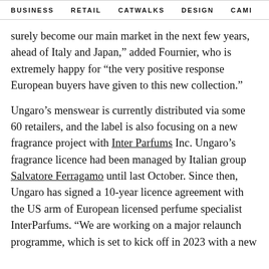BUSINESS   RETAIL   CATWALKS   DESIGN   CAMI  >
surely become our main market in the next few years, ahead of Italy and Japan," added Fournier, who is extremely happy for “the very positive response European buyers have given to this new collection.”
Ungaro’s menswear is currently distributed via some 60 retailers, and the label is also focusing on a new fragrance project with Inter Parfums Inc. Ungaro’s fragrance licence had been managed by Italian group Salvatore Ferragamo until last October. Since then, Ungaro has signed a 10-year licence agreement with the US arm of European licensed perfume specialist InterParfums. “We are working on a major relaunch programme, which is set to kick off in 2023 with a new